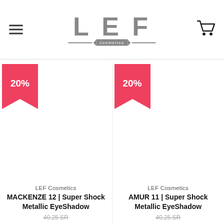[Figure (logo): LEF Cosmetics logo with hamburger menu and cart icon]
[Figure (infographic): 20% discount badge ribbon in red for MACKENZE 12 product]
LEF Cosmetics
MACKENZE 12 | Super Shock Metallic EyeShadow
40.25 SR (strikethrough)
[Figure (infographic): 20% discount badge ribbon in red for AMUR 11 product]
LEF Cosmetics
AMUR 11 | Super Shock Metallic EyeShadow
40.25 SR (strikethrough)